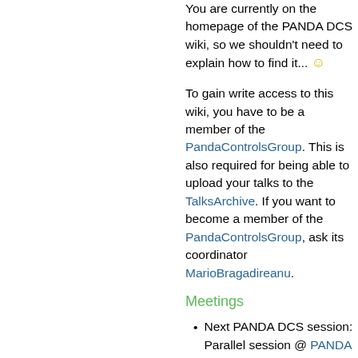You are currently on the homepage of the PANDA DCS wiki, so we shouldn't need to explain how to find it... 😊
To gain write access to this wiki, you have to be a member of the PandaControlsGroup. This is also required for being able to upload your talks to the TalksArchive. If you want to become a member of the PandaControlsGroup, ask its coordinator MarioBragadireanu.
Meetings
Next PANDA DCS session: Parallel session @ PANDA LV. Collaboration Meeting